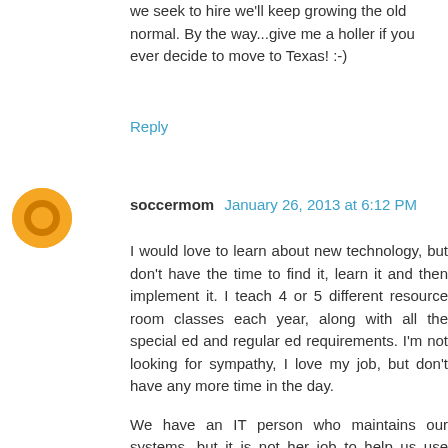we seek to hire  we'll keep growing the old normal. By the way...give me a holler if you ever decide to move to Texas! :-)
Reply
soccermom  January 26, 2013 at 6:12 PM
I would love to learn about new technology, but don't have the time to find it, learn it and then implement it. I teach 4 or 5 different resource room classes each year, along with all the special ed and regular ed requirements. I'm not looking for sympathy, I love my job, but don't have any more time in the day.
We have an IT person who maintains our systems, but it is not her job to help us use technology in the classroom, she would love to do that but she is overworked herself with the basic maintainence.
We also need a major upgrade to our technology and some professional development time dedicated to learning useful things about technology, but we have no money and most